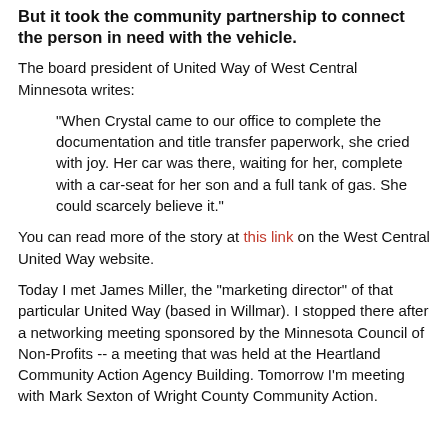But it took the community partnership to connect the person in need with the vehicle.
The board president of United Way of West Central Minnesota writes:
"When Crystal came to our office to complete the documentation and title transfer paperwork, she cried with joy. Her car was there, waiting for her, complete with a car-seat for her son and a full tank of gas. She could scarcely believe it."
You can read more of the story at this link on the West Central United Way website.
Today I met James Miller, the "marketing director" of that particular United Way (based in Willmar). I stopped there after a networking meeting sponsored by the Minnesota Council of Non-Profits -- a meeting that was held at the Heartland Community Action Agency Building. Tomorrow I'm meeting with Mark Sexton of Wright County Community Action.